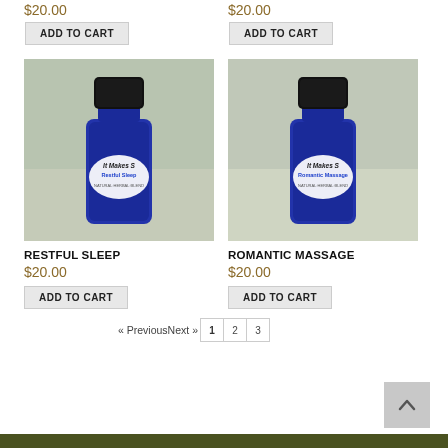$20.00
$20.00
ADD TO CART
ADD TO CART
[Figure (photo): Blue glass bottle with black cap labeled 'Restful Sleep' on a light green/grey background]
[Figure (photo): Blue glass bottle with black cap labeled 'Romantic Massage' on a light green/grey background]
RESTFUL SLEEP
ROMANTIC MASSAGE
$20.00
$20.00
ADD TO CART
ADD TO CART
« PreviousNext »
1 2 3